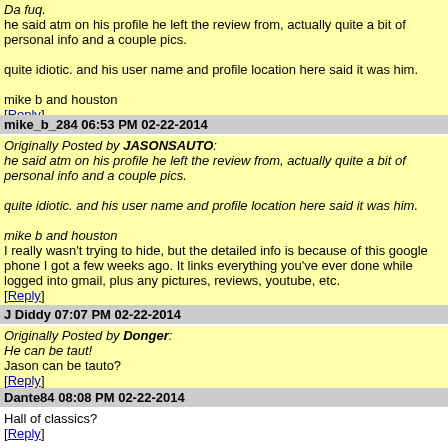Da fuq.
he said atm on his profile he left the review from, actually quite a bit of personal info and a couple pics.

quite idiotic. and his user name and profile location here said it was him.

mike b and houston
[Reply]
mike_b_284 06:53 PM 02-22-2014
Originally Posted by JASONSAUTO:
he said atm on his profile he left the review from, actually quite a bit of personal info and a couple pics.

quite idiotic. and his user name and profile location here said it was him.

mike b and houston
I really wasn't trying to hide, but the detailed info is because of this google phone I got a few weeks ago. It links everything you've ever done while logged into gmail, plus any pictures, reviews, youtube, etc.
[Reply]
J Diddy 07:07 PM 02-22-2014
Originally Posted by Donger:
He can be taut!
Jason can be tauto?
[Reply]
Dante84 08:08 PM 02-22-2014
Hall of classics?
[Reply]